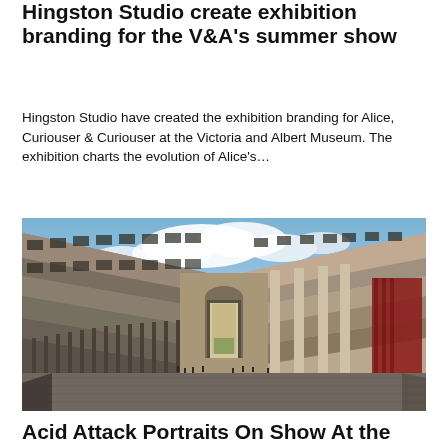Hingston Studio create exhibition branding for the V&A's summer show
Hingston Studio have created the exhibition branding for Alice, Curiouser & Curiouser at the Victoria and Albert Museum. The exhibition charts the evolution of Alice's...
[Figure (photo): A courtyard view of a grand classical Italian museum building (likely the Uffizi Gallery in Florence), with colonnaded facades on either side converging toward an arched gateway. Blue sky with dramatic clouds visible above. Visitors walking on stone-paved ground. A red fabric visible at right.]
Acid Attack Portraits On Show At the